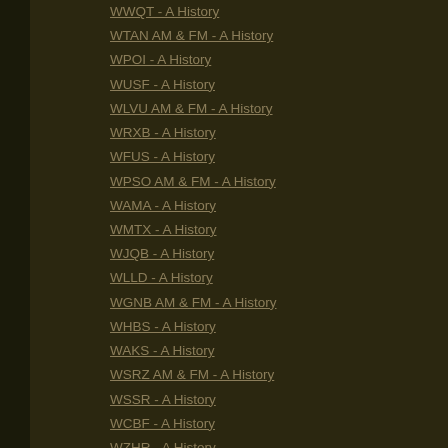WWQT - A History
WTAN AM & FM - A History
WPOI - A History
WUSF - A History
WLVU AM & FM - A History
WRXB - A History
WFUS - A History
WPSO AM & FM - A History
WAMA - A History
WMTX - A History
WJQB - A History
WLLD - A History
WGNB AM & FM - A History
WHBS - A History
WAKS - A History
WSRZ AM & FM - A History
WSSR - A History
WCBF - A History
WZHR - A History
WXYB - A History
WFTI - A History
WHPT - A History
WGES - A History
WTMY - A History
WBTP - A History
WRZZ - A History